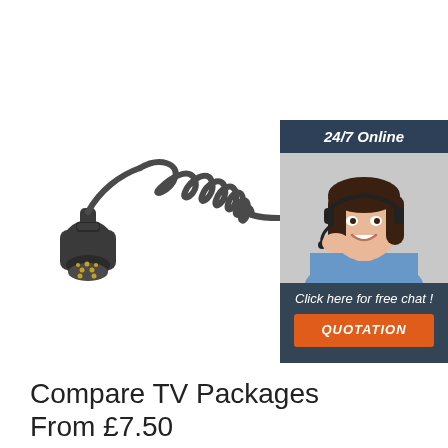[Figure (photo): A coiled/spiral black electrical cable with 7-pin trailer connectors (plugs) on each end, photographed on a white background.]
[Figure (illustration): An advertisement widget showing a smiling woman wearing a headset/telephone headset, with a dark navy background. Header reads '24/7 Online', body text says 'Click here for free chat!' and an orange button labeled 'QUOTATION'.]
Compare TV Packages From £7.50